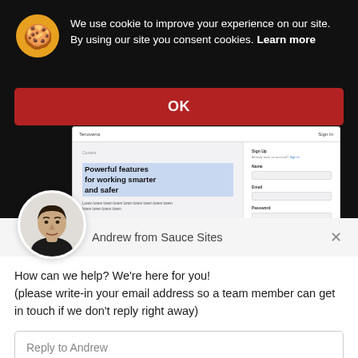We use cookie to improve your experience on our site. By using our site you consent cookies. Learn more
OK
[Figure (screenshot): Screenshot of a website registration page with heading 'Powerful features for working smarter and safer' and a sign-up form on the right]
[Figure (photo): Circular avatar photo of Andrew, a man in a black shirt]
Andrew from Sauce Sites
How can we help? We're here for you!
(please write-in your email address so a team member can get in touch if we don't reply right away)
Reply to Andrew
Chat ⚡ by Drift